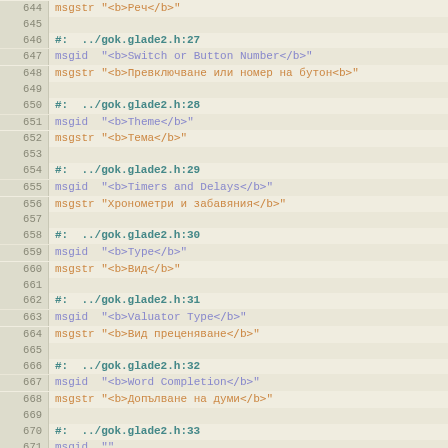Code/translation file viewer showing lines 644-675 of a .po localization file for gok.glade2.h
644: msgstr "<b>Реч</b>"
645: (empty)
646: #: ../gok.glade2.h:27
647: msgid "<b>Switch or Button Number</b>"
648: msgstr "<b>Превключване или номер на бутон<b>"
649: (empty)
650: #: ../gok.glade2.h:28
651: msgid "<b>Theme</b>"
652: msgstr "<b>Тема</b>"
653: (empty)
654: #: ../gok.glade2.h:29
655: msgid "<b>Timers and Delays</b>"
656: msgstr "Хронометри и забавяния</b>"
657: (empty)
658: #: ../gok.glade2.h:30
659: msgid "<b>Type</b>"
660: msgstr "<b>Вид</b>"
661: (empty)
662: #: ../gok.glade2.h:31
663: msgid "<b>Valuator Type</b>"
664: msgstr "<b>Вид преценяване</b>"
665: (empty)
666: #: ../gok.glade2.h:32
667: msgid "<b>Word Completion</b>"
668: msgstr "<b>Допълване на думи</b>"
669: (empty)
670: #: ../gok.glade2.h:33
671: msgid ""
672: "<small><i><b>Note:</b> Changes to this setting will not take effect until "
673: "you next run GOK.</i></small>"
674: msgstr ""
675: "<small><i><b>Забележка:</b> Промените по тази настройка